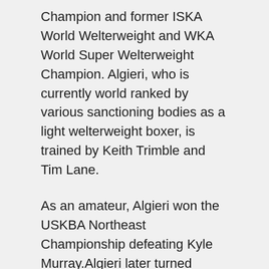Champion and former ISKA World Welterweight and WKA World Super Welterweight Champion. Algieri, who is currently world ranked by various sanctioning bodies as a light welterweight boxer, is trained by Keith Trimble and Tim Lane.
As an amateur, Algieri won the USKBA Northeast Championship defeating Kyle Murray.Algieri later turned professional, and won the International Sport Karate Association Welterweight and World Kickboxing Association Super Welterweight Championships, compiling a 20-0 record as a world kickboxing champion before retiring to become a professional boxer. He reached 10-0 when Joe DeGuardia's Star Boxing signed him.
Algieri's career record stands at 20-1 as a professional boxer. He is promoted by Joe